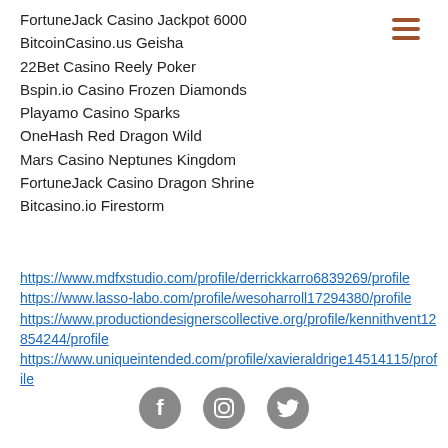FortuneJack Casino Jackpot 6000
BitcoinCasino.us Geisha
22Bet Casino Reely Poker
Bspin.io Casino Frozen Diamonds
Playamo Casino Sparks
OneHash Red Dragon Wild
Mars Casino Neptunes Kingdom
FortuneJack Casino Dragon Shrine
Bitcasino.io Firestorm
https://www.mdfxstudio.com/profile/derrickkarro6839269/profile
https://www.lasso-labo.com/profile/wesoharroll17294380/profile
https://www.productiondesignerscollective.org/profile/kennithvent12854244/profile
https://www.uniqueintended.com/profile/xavieraldrige14514115/profile
[Figure (illustration): Three social media icons: Facebook, Instagram, Twitter, rendered in gray circles at the bottom of the page]